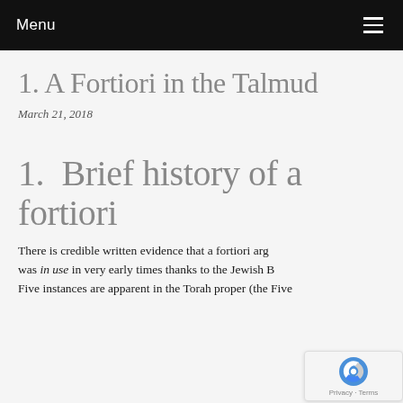Menu
1. A Fortiori in the Talmud
March 21, 2018
1.  Brief history of a fortiori
There is credible written evidence that a fortiori arg was in use in very early times thanks to the Jewish B Five instances are apparent in the Torah proper (the Five